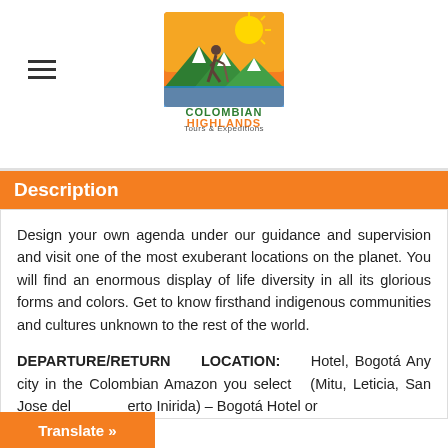[Figure (logo): Colombian Highlands Tours & Expeditions logo featuring a hiker with mountains, sun and green hills]
Description
Design your own agenda under our guidance and supervision and visit one of the most exuberant locations on the planet. You will find an enormous display of life diversity in all its glorious forms and colors. Get to know firsthand indigenous communities and cultures unknown to the rest of the world.
DEPARTURE/RETURN LOCATION: Hotel, Bogotá Any city in the Colombian Amazon you select (Mitu, Leticia, San Jose del erto Inirida) – Bogotá Hotel or